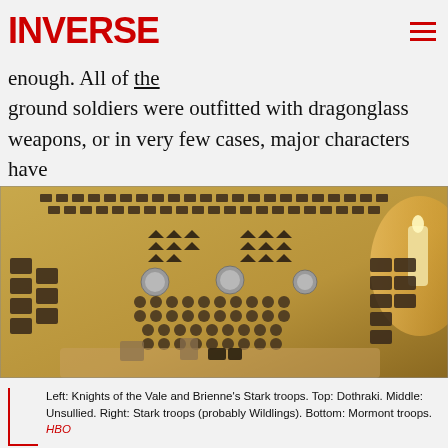INVERSE
was also dug. Their plan is to light fires in those trenches when the army of the dead gets close enough. All of the ground soldiers were outfitted with dragonglass weapons, or in very few cases, major characters have Valyrian steel swords. Women, children, and a few other people will hide in the crypts for safety.
[Figure (photo): A battle map laid out on a table showing game pieces representing different armies: rows of rectangular pieces (Knights of the Vale and Brienne's Stark troops), triangular pieces (Dothraki), circular pieces (Unsullied), and other grouped pieces. A candle is visible at the right edge.]
Left: Knights of the Vale and Brienne's Stark troops. Top: Dothraki. Middle: Unsullied. Right: Stark troops (probably Wildlings). Bottom: Mormont troops. HBO